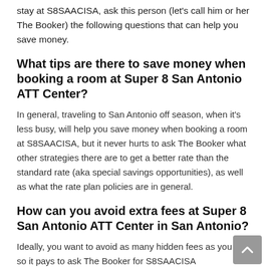stay at S8SAACISA, ask this person (let's call him or her The Booker) the following questions that can help you save money.
What tips are there to save money when booking a room at Super 8 San Antonio ATT Center?
In general, traveling to San Antonio off season, when it's less busy, will help you save money when booking a room at S8SAACISA, but it never hurts to ask The Booker what other strategies there are to get a better rate than the standard rate (aka special savings opportunities), as well as what the rate plan policies are in general.
How can you avoid extra fees at Super 8 San Antonio ATT Center in San Antonio?
Ideally, you want to avoid as many hidden fees as you can, so it pays to ask The Booker for S8SAACISA